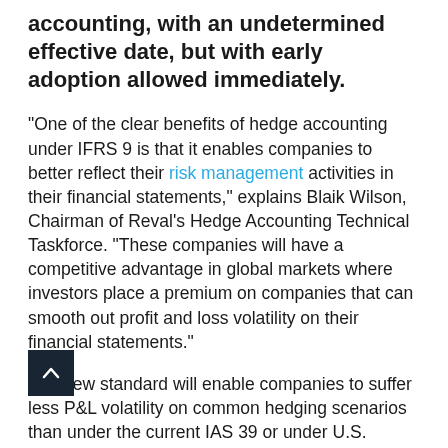accounting, with an undetermined effective date, but with early adoption allowed immediately.
"One of the clear benefits of hedge accounting under IFRS 9 is that it enables companies to better reflect their risk management activities in their financial statements," explains Blaik Wilson, Chairman of Reval's Hedge Accounting Technical Taskforce. "These companies will have a competitive advantage in global markets where investors place a premium on companies that can smooth out profit and loss volatility on their financial statements."
The new standard will enable companies to suffer less P&L volatility on common hedging scenarios than under the current IAS 39 or under U.S. GAAP. Commodity users reporting under IFRS 9, for example, will be able to hedge components of non-financial items, such as the "rubber in the rubber tire". As such, these companies